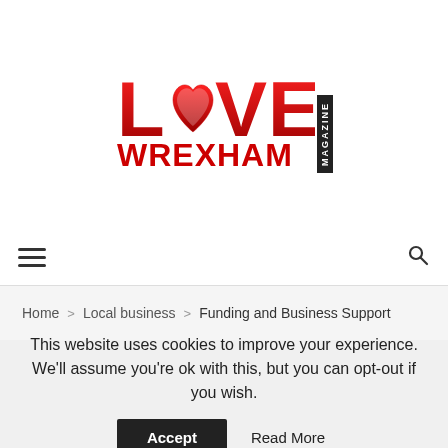[Figure (logo): Love Wrexham Magazine logo — red stylized LOVE text with a heart-shaped 'O', WREXHAM in bold red below, and MAGAZINE in a vertical black box on the right]
≡  🔍
Home > Local business > Funding and Business Support
This website uses cookies to improve your experience. We'll assume you're ok with this, but you can opt-out if you wish.
Accept   Read More